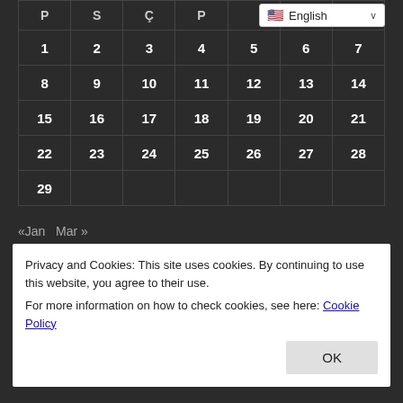| P | S | Ç | P |  |  |  |
| --- | --- | --- | --- | --- | --- | --- |
| 1 | 2 | 3 | 4 | 5 | 6 | 7 |
| 8 | 9 | 10 | 11 | 12 | 13 | 14 |
| 15 | 16 | 17 | 18 | 19 | 20 | 21 |
| 22 | 23 | 24 | 25 | 26 | 27 | 28 |
| 29 |  |  |  |  |  |  |
«Jan  Mar »
FREE EMAIL SUBSCRIPTION
Privacy and Cookies: This site uses cookies. By continuing to use this website, you agree to their use.
For more information on how to check cookies, see here: Cookie Policy
OK